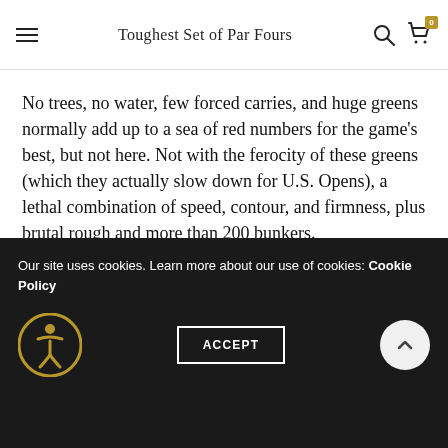Toughest Set of Par Fours
No trees, no water, few forced carries, and huge greens normally add up to a sea of red numbers for the game's best, but not here. Not with the ferocity of these greens (which they actually slow down for U.S. Opens), a lethal combination of speed, contour, and firmness, plus brutal rough and more than 200 bunkers.
The terror train leaves the station at the 482-yard par-
Our site uses cookies. Learn more about our use of cookies: Cookie Policy